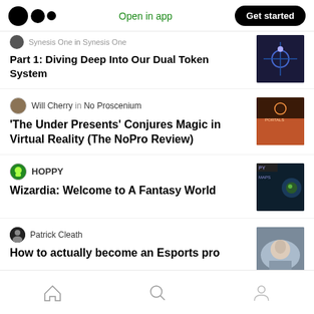Medium app header — Open in app | Get started
Synesis One in Synesis One
Part 1: Diving Deep Into Our Dual Token System
Will Cherry in No Proscenium
'The Under Presents' Conjures Magic in Virtual Reality (The NoPro Review)
HOPPY
Wizardia: Welcome to A Fantasy World
Patrick Cleath
How to actually become an Esports pro
Home | Search | Profile navigation